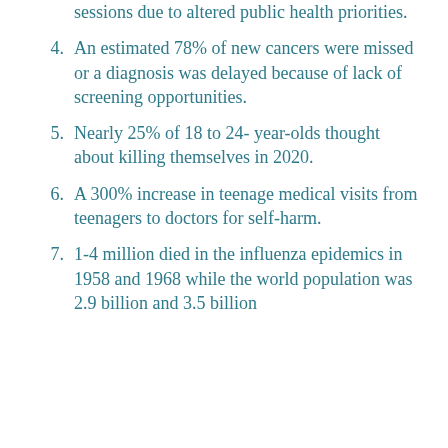sessions due to altered public health priorities.
4. An estimated 78% of new cancers were missed or a diagnosis was delayed because of lack of screening opportunities.
5. Nearly 25% of 18 to 24- year-olds thought about killing themselves in 2020.
6. A 300% increase in teenage medical visits from teenagers to doctors for self-harm.
7. 1-4 million died in the influenza epidemics in 1958 and 1968 while the world population was 2.9 billion and 3.5 billion